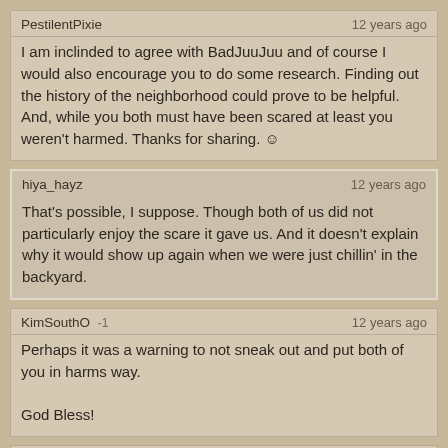PestilentPixie | 12 years ago
I am inclinded to agree with BadJuuJuu and of course I would also encourage you to do some research. Finding out the history of the neighborhood could prove to be helpful. And, while you both must have been scared at least you weren't harmed. Thanks for sharing. ☺
hiya_hayz | 12 years ago
That's possible, I suppose. Though both of us did not particularly enjoy the scare it gave us. And it doesn't explain why it would show up again when we were just chillin' in the backyard.
KimSouthO -1 | 12 years ago
Perhaps it was a warning to not sneak out and put both of you in harms way.

God Bless!
lynrinth (guest) | 12 years ago